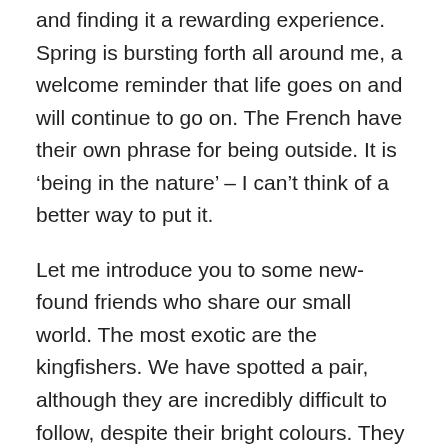and finding it a rewarding experience. Spring is bursting forth all around me, a welcome reminder that life goes on and will continue to go on. The French have their own phrase for being outside. It is ‘being in the nature’ – I can’t think of a better way to put it.
Let me introduce you to some new-found friends who share our small world. The most exotic are the kingfishers. We have spotted a pair, although they are incredibly difficult to follow, despite their bright colours. They take great delight in teasing us, sitting motionless on a neighbouring boat or a branch, almost invisible, so that we only see them out of the corner of our eye as they fly off.
We also have a pair of herons, whom we have named